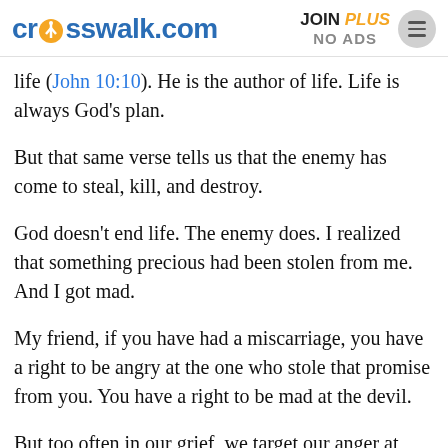crosswalk.com | JOIN PLUS NO ADS
life (John 10:10). He is the author of life. Life is always God’s plan.
But that same verse tells us that the enemy has come to steal, kill, and destroy.
God doesn’t end life. The enemy does. I realized that something precious had been stolen from me. And I got mad.
My friend, if you have had a miscarriage, you have a right to be angry at the one who stole that promise from you. You have a right to be mad at the devil.
But too often in our grief, we target our anger at God.
Why didn’t he allow this loss?